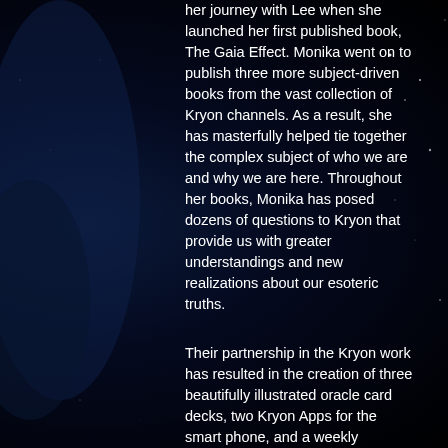her journey with Lee when she launched her first published book, The Gaia Effect. Monika went on to publish three more subject-driven books from the vast collection of Kryon channels. As a result, she has masterfully helped tie together the complex subject of who we are and why we are here. Throughout her books, Monika has posed dozens of questions to Kryon that provide us with greater understandings and new realizations about our esoteric truths.
Their partnership in the Kryon work has resulted in the creation of three beautifully illustrated oracle card decks, two Kryon Apps for the smart phone, and a weekly